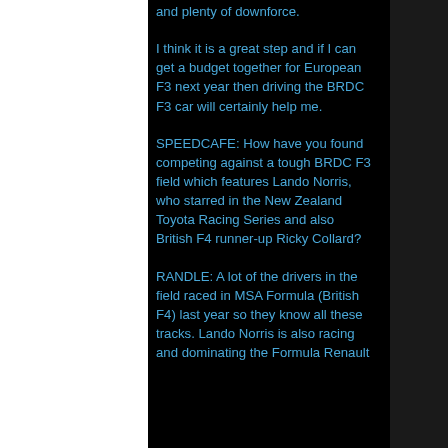and plenty of downforce.
I think it is a great step and if I can get a budget together for European F3 next year then driving the BRDC F3 car will certainly help me.
SPEEDCAFE: How have you found competing against a tough BRDC F3 field which features Lando Norris, who starred in the New Zealand Toyota Racing Series and also British F4 runner-up Ricky Collard?
RANDLE: A lot of the drivers in the field raced in MSA Formula (British F4) last year so they know all these tracks. Lando Norris is also racing and dominating the Formula Renault